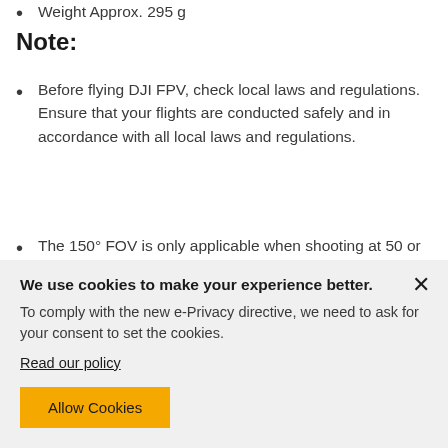Weight Approx. 295 g
Note:
Before flying DJI FPV, check local laws and regulations. Ensure that your flights are conducted safely and in accordance with all local laws and regulations.
The 150° FOV is only applicable when shooting at 50 or 100 fps.
Obstacle sensing is only available when the aircraft is in N mode. In this mode, DJI FPV
We use cookies to make your experience better.
To comply with the new e-Privacy directive, we need to ask for your consent to set the cookies.
Read our policy
Allow Cookies